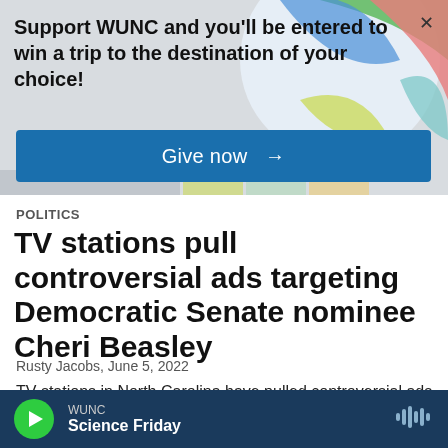[Figure (infographic): WUNC promotional banner with colorful geometric background, text saying Support WUNC and you'll be entered to win a trip to the destination of your choice!, a blue Give now button, and a close X button]
Politics
TV stations pull controversial ads targeting Democratic Senate nominee Cheri Beasley
Rusty Jacobs, June 5, 2022
TV stations in North Carolina have pulled controversial ads targeting Democratic U.S. Senate nominee Cheri Beasley.
WUNC Science Friday